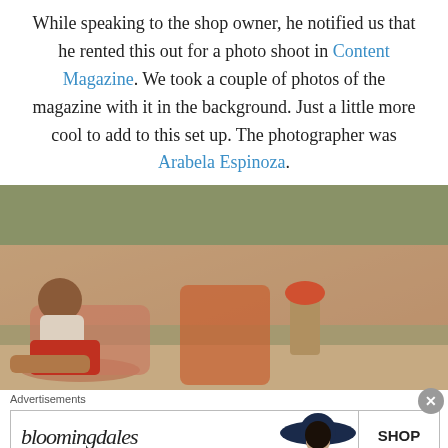While speaking to the shop owner, he notified us that he rented this out for a photo shoot in Content Magazine. We took a couple of photos of the magazine with it in the background. Just a little more cool to add to this set up. The photographer was Arabela Espinoza.
[Figure (photo): An open magazine spread showing a group of women in swimwear and colorful outfits lounging by a pool, alongside a woman in a red swimsuit holding a camera, and smaller food and behind-the-scenes photos on the right page.]
Advertisements
[Figure (screenshot): Bloomingdale's advertisement banner with italic logo text, tagline 'View Today's Top Deals!', a model wearing a large hat, and a 'SHOP NOW >' button.]